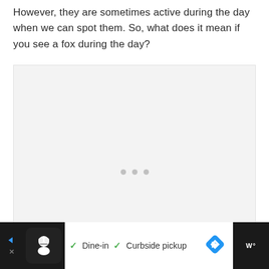However, they are sometimes active during the day when we can spot them. So, what does it mean if you see a fox during the day?
[Figure (other): A light gray placeholder image area with three small gray dots centered in the middle, indicating an image loading or not displayed state.]